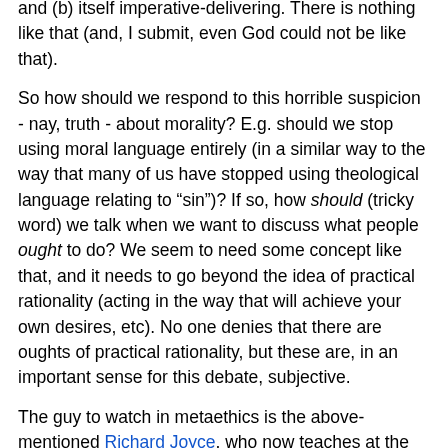and (b) itself imperative-delivering. There is nothing like that (and, I submit, even God could not be like that).
So how should we respond to this horrible suspicion - nay, truth - about morality? E.g. should we stop using moral language entirely (in a similar way to the way that many of us have stopped using theological language relating to "sin")? If so, how should (tricky word) we talk when we want to discuss what people ought to do? We seem to need some concept like that, and it needs to go beyond the idea of practical rationality (acting in the way that will achieve your own desires, etc). No one denies that there are oughts of practical rationality, but these are, in an important sense for this debate, subjective.
The guy to watch in metaethics is the above-mentioned Richard Joyce, who now teaches at the University of Sydney, and is embroiled in these debates. He's young, he's on the ball, and he's a much better philosopher than Sam Harris, at least when it comes to metaethical issues. Unfortunately, his new book is not likely to be a best-seller. (It's not even affordable to individual people; meaning that he would inspire readers but it finds publishers that...